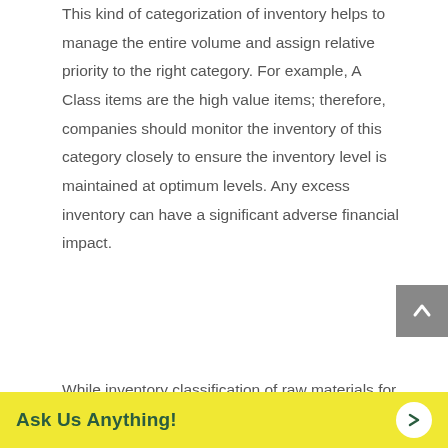This kind of categorization of inventory helps to manage the entire volume and assign relative priority to the right category. For example, A Class items are the high value items; therefore, companies should monitor the inventory of this category closely to ensure the inventory level is maintained at optimum levels. Any excess inventory can have a significant adverse financial impact.
While inventory classification of raw materials for inventory management purposes can apply finished goods inv...